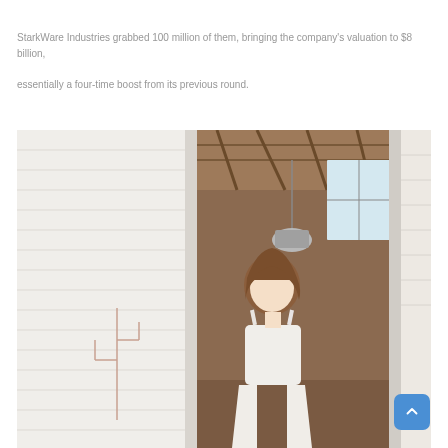StarkWare Industries grabbed 100 million of them, bringing the company's valuation to $8 billion, essentially a four-time boost from its previous round.
[Figure (photo): A young woman with brown hair standing in a doorway of a white wooden building with a rustic interior. A wire cactus decoration is visible on the left wall.]